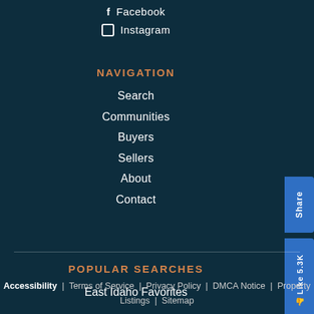Facebook
Instagram
NAVIGATION
Search
Communities
Buyers
Sellers
About
Contact
POPULAR SEARCHES
East Idaho Favorites
Accessibility | Terms of Service | Privacy Policy | DMCA Notice | Property Listings | Sitemap